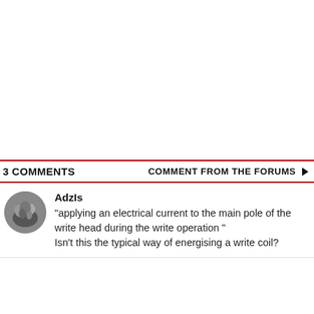3 COMMENTS   COMMENT FROM THE FORUMS
AdzIs
"applying an electrical current to the main pole of the write head during the write operation " Isn't this the typical way of energising a write coil?